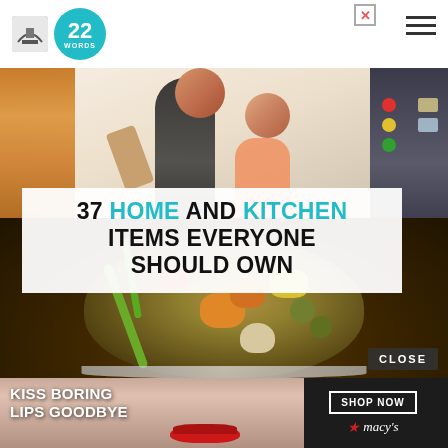[Figure (screenshot): Website header with ship logo and '22 Words' circular teal logo, hamburger menu icon on right, close ad button (X)]
[Figure (photo): Collage of cooking photos: mother and daughter cooking together in top half, large bowl of mixed vegetables in bottom half]
37 HOME AND KITCHEN ITEMS EVERYONE SHOULD OWN
[Figure (photo): Advertisement banner with woman's face and red lips for Macy's cosmetics with 'KISS BORING LIPS GOODBYE' text and Shop Now button]